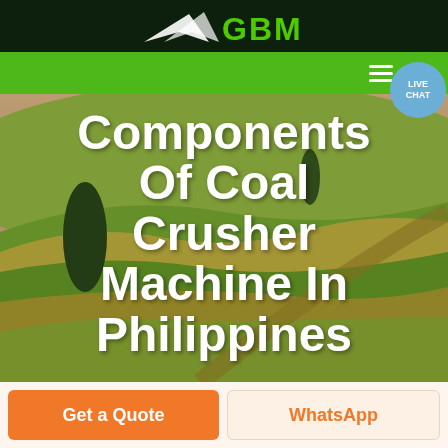GBM
[Figure (screenshot): GBM company logo with white arrow/wing shape and green GBM text on dark background header]
[Figure (photo): Aerial landscape photo of rolling green and golden agricultural fields with trees, used as hero image background]
Components Of Coal Crusher Machine In Philippines
Get a Quote
WhatsApp